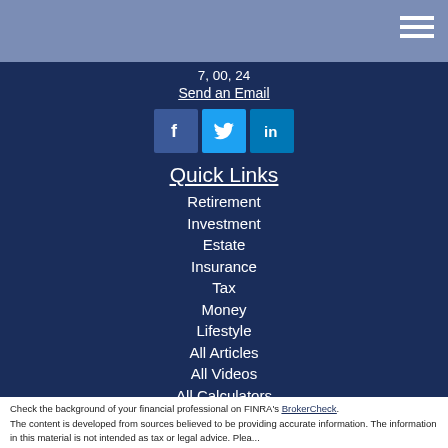7, 00, 24
Send an Email
[Figure (other): Social media icons: Facebook, Twitter, LinkedIn]
Quick Links
Retirement
Investment
Estate
Insurance
Tax
Money
Lifestyle
All Articles
All Videos
All Calculators
All Presentations
Check the background of your financial professional on FINRA's BrokerCheck.

The content is developed from sources believed to be providing accurate information. The information in this material is not intended as tax or legal advice. Plea...